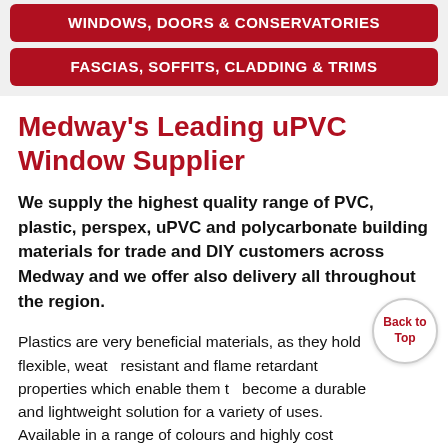WINDOWS, DOORS & CONSERVATORIES
FASCIAS, SOFFITS, CLADDING & TRIMS
Medway's Leading uPVC Window Supplier
We supply the highest quality range of PVC, plastic, perspex, uPVC and polycarbonate building materials for trade and DIY customers across Medway and we offer also delivery all throughout the region.
Plastics are very beneficial materials, as they hold flexible, weather resistant and flame retardant properties which enable them to become a durable and lightweight solution for a variety of uses. Available in a range of colours and highly cost effective, uPVC windows can provide your Medway property with aesthetically pleasing and effective solution. Not only this but they are ideal for all kinds of glazing and roofing products, including ceilings, walls,